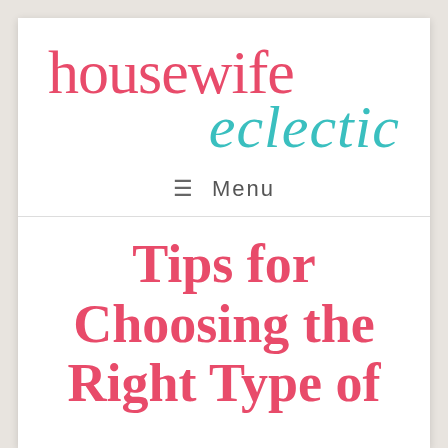[Figure (logo): Housewife Eclectic blog logo with 'housewife' in pink/red serif font and 'eclectic' in teal cursive script]
≡ Menu
Tips for Choosing the Right Type of